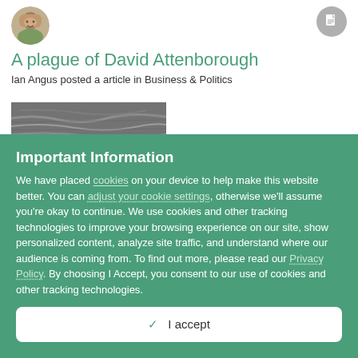[Figure (photo): Circular avatar photo of a person outdoors]
[Figure (illustration): Gray circular icon with document/file symbol]
A plague of David Attenborough
Ian Angus posted a article in Business & Politics
[Figure (photo): Black and white close-up photograph, appears to be an animal or natural texture]
Important Information
We have placed cookies on your device to help make this website better. You can adjust your cookie settings, otherwise we'll assume you're okay to continue. We use cookies and other tracking technologies to improve your browsing experience on our site, show personalized content, analyze site traffic, and understand where our audience is coming from. To find out more, please read our Privacy Policy. By choosing I Accept, you consent to our use of cookies and other tracking technologies.
✓  I accept